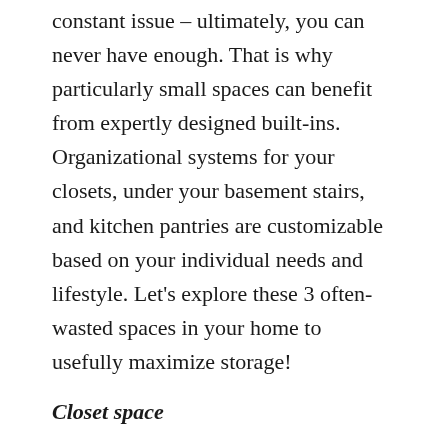constant issue – ultimately, you can never have enough. That is why particularly small spaces can benefit from expertly designed built-ins. Organizational systems for your closets, under your basement stairs, and kitchen pantries are customizable based on your individual needs and lifestyle. Let's explore these 3 often-wasted spaces in your home to usefully maximize storage!
Closet space
You can create more storage in your closet by turning standard shelves and rods into custom, designed millwork drawers, short and